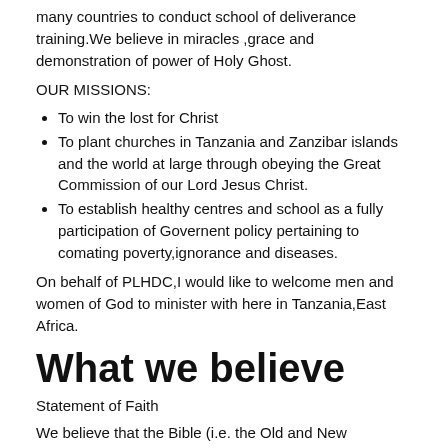many countries to conduct school of deliverance training.We believe in miracles ,grace and demonstration of power of Holy Ghost.
OUR MISSIONS:
To win the lost for Christ
To plant churches in Tanzania and Zanzibar islands and the world at large through obeying the Great Commission of our Lord Jesus Christ.
To establish healthy centres and school as a fully participation of Governent policy pertaining to comating poverty,ignorance and diseases.
On behalf of PLHDC,I would like to welcome men and women of God to minister with here in Tanzania,East Africa.
What we believe
Statement of Faith
We believe that the Bible (i.e. the Old and New Testaments excluding the Apocrypha), is the inspired Word of God, the infallible, all sufficient rule for faith and practice (2 Tim. 3:15 – 16; 2